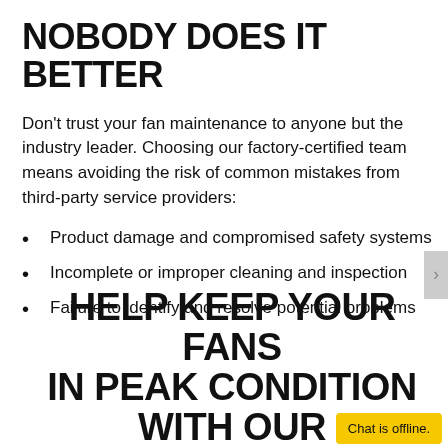NOBODY DOES IT BETTER
Don't trust your fan maintenance to anyone but the industry leader. Choosing our factory-certified team means avoiding the risk of common mistakes from third-party service providers:
Product damage and compromised safety systems
Incomplete or improper cleaning and inspection
Failure to identify and resolve potential problems
HELP KEEP YOUR FANS IN PEAK CONDITION WITH OUR